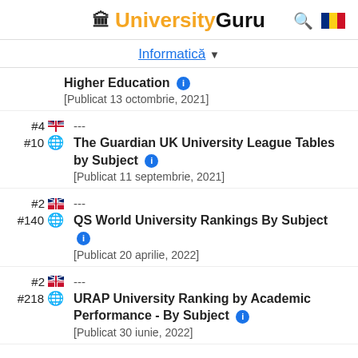UniversityGuru
Informatică
Higher Education [Publicat 13 octombrie, 2021]
#4 (UK) #10 (world) --- The Guardian UK University League Tables by Subject [Publicat 11 septembrie, 2021]
#2 (UK) #140 (world) --- QS World University Rankings By Subject [Publicat 20 aprilie, 2022]
#2 (UK) #218 (world) --- URAP University Ranking by Academic Performance - By Subject [Publicat 30 iunie, 2022]